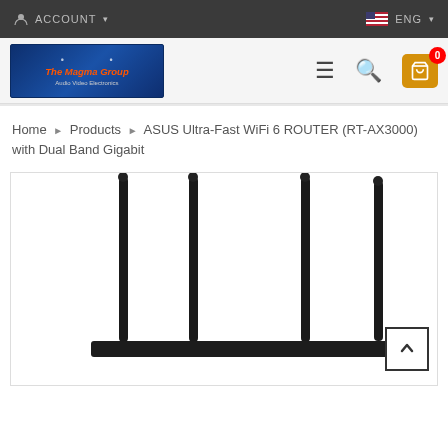ACCOUNT   ENG
[Figure (logo): The Magma Group Audio Video Electronics logo on blue background]
Home › Products › ASUS Ultra-Fast WiFi 6 ROUTER (RT-AX3000) with Dual Band Gigabit
[Figure (photo): ASUS RT-AX3000 router showing four tall black external antennas against white background]